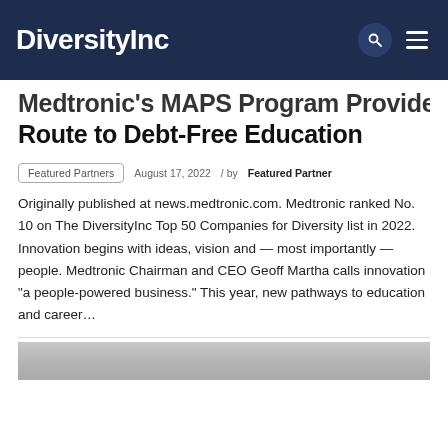DiversityInc
Medtronic's MAPS Program Provides Route to Debt-Free Education
Featured Partners   August 17, 2022 / by Featured Partner
Originally published at news.medtronic.com. Medtronic ranked No. 10 on The DiversityInc Top 50 Companies for Diversity list in 2022. Innovation begins with ideas, vision and — most importantly — people. Medtronic Chairman and CEO Geoff Martha calls innovation "a people-powered business." This year, new pathways to education and career…
[Figure (photo): Bottom portion of a gray image strip, partially visible]